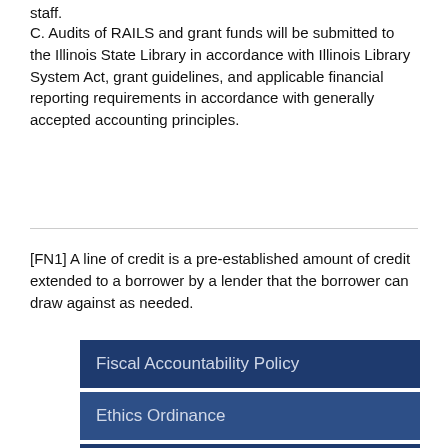staff.
C. Audits of RAILS and grant funds will be submitted to the Illinois State Library in accordance with Illinois Library System Act, grant guidelines, and applicable financial reporting requirements in accordance with generally accepted accounting principles.
[FN1] A line of credit is a pre-established amount of credit extended to a borrower by a lender that the borrower can draw against as needed.
Fiscal Accountability Policy
Ethics Ordinance
Social Media Policy